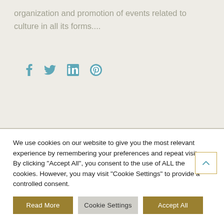organization and promotion of events related to culture in all its forms....
[Figure (other): Social media icons: Facebook (f), Twitter (bird), LinkedIn (in box), Pinterest (P circle) in teal/blue color]
We use cookies on our website to give you the most relevant experience by remembering your preferences and repeat visits. By clicking "Accept All", you consent to the use of ALL the cookies. However, you may visit "Cookie Settings" to provide a controlled consent.
Read More | Cookie Settings | Accept All